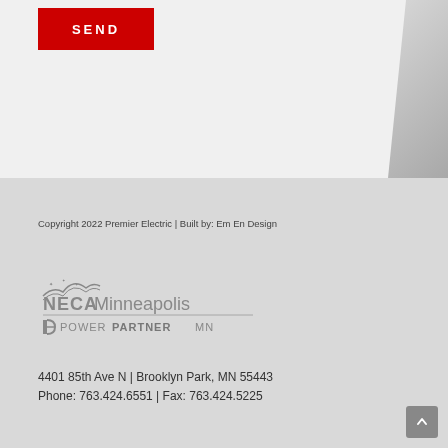SEND
Copyright 2022 Premier Electric | Built by: Em En Design
[Figure (logo): NECA Minneapolis Power Partner MN logo in grey tones]
4401 85th Ave N | Brooklyn Park, MN 55443
Phone: 763.424.6551 | Fax: 763.424.5225